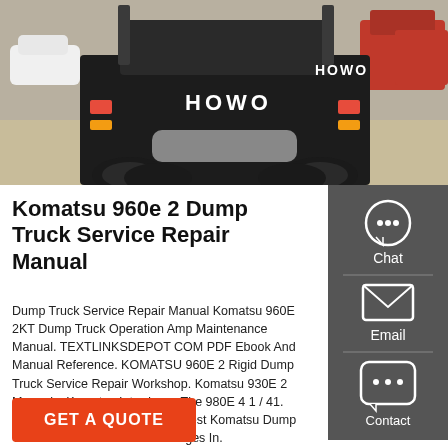[Figure (photo): Rear view of HOWO heavy dump/tractor trucks parked in a lot, with a white car visible on the left and a red truck on the upper right.]
Komatsu 960e 2 Dump Truck Service Repair Manual
Dump Truck Service Repair Manual Komatsu 960E 2KT Dump Truck Operation Amp Maintenance Manual. TEXTLINKSDEPOT COM PDF Ebook And Manual Reference. KOMATSU 960E 2 Rigid Dump Truck Service Repair Workshop. Komatsu 930E 2 Manuals. Komatsu Introduces The 980E 4 1 / 41. Mining Haul Truck Service. 44 Best Komatsu Dump Truck Service Manual PDF Images In.
[Figure (infographic): Sidebar with Chat, Email, and Contact icons on dark grey background]
GET A QUOTE